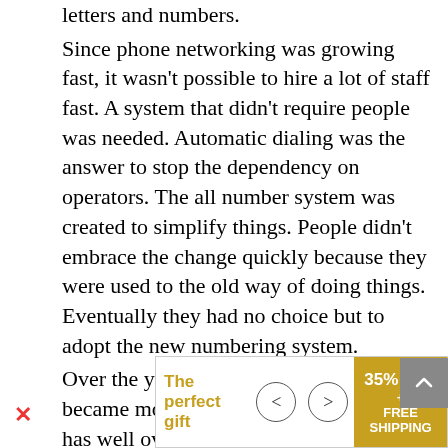letters and numbers.
Since phone networking was growing fast, it wasn't possible to hire a lot of staff fast. A system that didn't require people was needed. Automatic dialing was the answer to stop the dependency on operators. The all number system was created to simplify things. People didn't embrace the change quickly because they were used to the old way of doing things. Eventually they had no choice but to adopt the new numbering system.
Over the years, area codes expanded and became more complex. Today, California has well over 30 area codes. New York City has 6. New York used to have only one area, which was 212, until 1984. The area code, 212, is considered a prestigious number. New Yorkers were disappointed to find out that in 2010, AT&T announced that the New York area code was c[cut off]